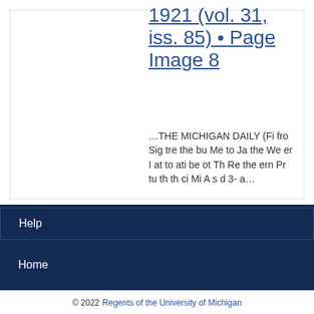1921 (vol. 31, iss. 85) • Page Image 8
…THE MICHIGAN DAILY (Fi fro Sig tre the bu Me to Ja the We er I at to ati be ot Th Re the ern Pr tu th th ci Mi A s d 3- a…
Help
Home
© 2022 Regents of the University of Michigan